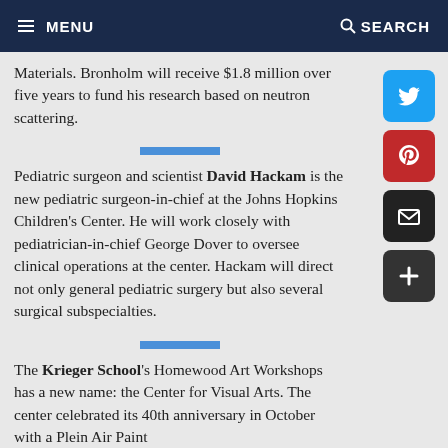MENU   SEARCH
Materials. Bronholm will receive $1.8 million over five years to fund his research based on neutron scattering.
Pediatric surgeon and scientist David Hackam is the new pediatric surgeon-in-chief at the Johns Hopkins Children's Center. He will work closely with pediatrician-in-chief George Dover to oversee clinical operations at the center. Hackam will direct not only general pediatric surgery but also several surgical subspecialties.
The Krieger School's Homewood Art Workshops has a new name: the Center for Visual Arts. The center celebrated its 40th anniversary in October with a Plein Air Paint